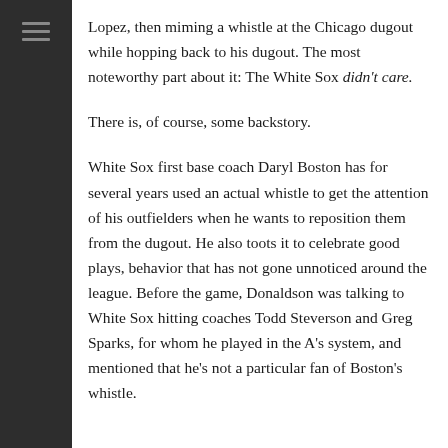Lopez, then miming a whistle at the Chicago dugout while hopping back to his dugout. The most noteworthy part about it: The White Sox didn't care.
There is, of course, some backstory.
White Sox first base coach Daryl Boston has for several years used an actual whistle to get the attention of his outfielders when he wants to reposition them from the dugout. He also toots it to celebrate good plays, behavior that has not gone unnoticed around the league. Before the game, Donaldson was talking to White Sox hitting coaches Todd Steverson and Greg Sparks, for whom he played in the A's system, and mentioned that he's not a particular fan of Boston's whistle.